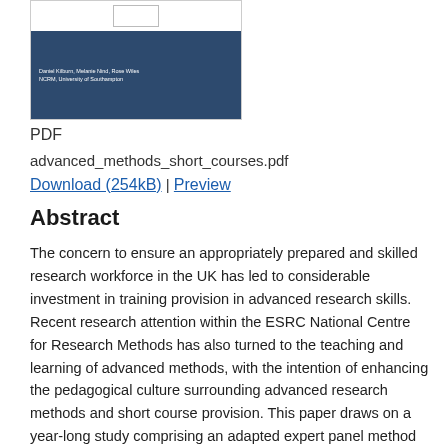[Figure (illustration): Thumbnail preview of a PDF document cover. Top portion is white with a small document icon outline. Bottom portion is a dark navy blue rectangle containing white text: 'Daniel Kilburn, Melanie Nind, Rose Wiles' and 'NCRM, University of Southampton'.]
PDF
advanced_methods_short_courses.pdf
Download (254kB) | Preview
Abstract
The concern to ensure an appropriately prepared and skilled research workforce in the UK has led to considerable investment in training provision in advanced research skills. Recent research attention within the ESRC National Centre for Research Methods has also turned to the teaching and learning of advanced methods, with the intention of enhancing the pedagogical culture surrounding advanced research methods and short course provision. This paper draws on a year-long study comprising an adapted expert panel method